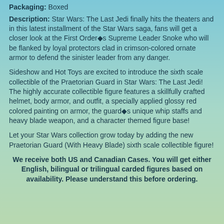Packaging: Boxed
Description: Star Wars: The Last Jedi finally hits the theaters and in this latest installment of the Star Wars saga, fans will get a closer look at the First Order◆s Supreme Leader Snoke who will be flanked by loyal protectors clad in crimson-colored ornate armor to defend the sinister leader from any danger.
Sideshow and Hot Toys are excited to introduce the sixth scale collectible of the Praetorian Guard in Star Wars: The Last Jedi! The highly accurate collectible figure features a skillfully crafted helmet, body armor, and outfit, a specially applied glossy red colored painting on armor, the guard◆s unique whip staffs and heavy blade weapon, and a character themed figure base!
Let your Star Wars collection grow today by adding the new Praetorian Guard (With Heavy Blade) sixth scale collectible figure!
We receive both US and Canadian Cases. You will get either English, bilingual or trilingual carded figures based on availability. Please understand this before ordering.